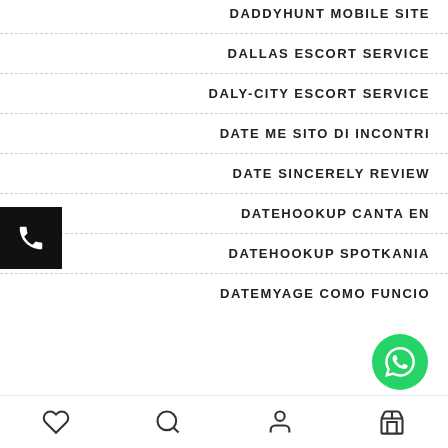DADDYHUNT MOBILE SITE
DALLAS ESCORT SERVICE
DALY-CITY ESCORT SERVICE
DATE ME SITO DI INCONTRI
DATE SINCERELY REVIEW
DATEHOOKUP CANTA EN
DATEHOOKUP SPOTKANIA
DATEMYAGE COMO FUNCIO